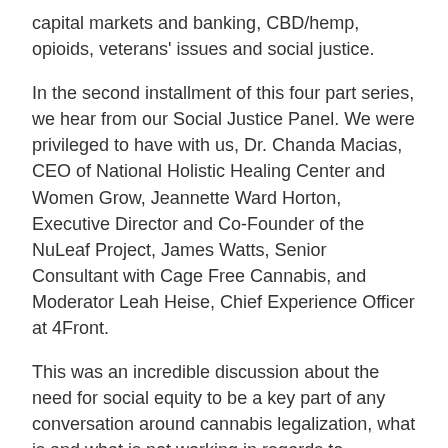capital markets and banking, CBD/hemp, opioids, veterans' issues and social justice.
In the second installment of this four part series, we hear from our Social Justice Panel. We were privileged to have with us, Dr. Chanda Macias, CEO of National Holistic Healing Center and Women Grow, Jeannette Ward Horton, Executive Director and Co-Founder of the NuLeaf Project, James Watts, Senior Consultant with Cage Free Cannabis, and Moderator Leah Heise, Chief Experience Officer at 4Front.
This was an incredible discussion about the need for social equity to be a key part of any conversation around cannabis legalization, what is and what is not working in regards to legislation aimed at tackling this issue, the lack of funding and access to capital that minority entrepreneurs face, and the potential solutions to providing greater opportunities to minorities within the industry.
So don't sit back, lean forward and enjoy!